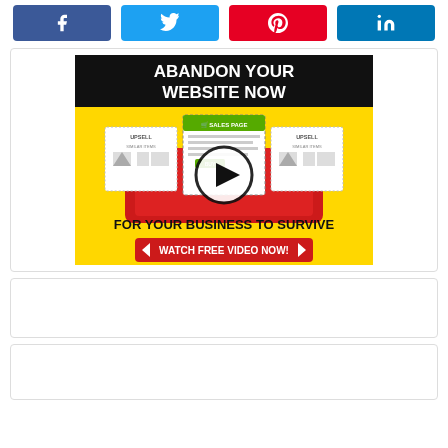[Figure (infographic): Social share buttons row: Facebook (blue), Twitter (light blue), Pinterest (red), LinkedIn (dark blue)]
[Figure (illustration): Promotional banner ad: Yellow background with black text 'ABANDON YOUR WEBSITE NOW', illustration of sales page and upsell pages on a red tablet, play button overlay, text 'FOR YOUR BUSINESS TO SURVIVE', red button 'WATCH FREE VIDEO NOW!']
[Figure (other): Empty white card/ad placeholder]
[Figure (other): Empty white card/ad placeholder]